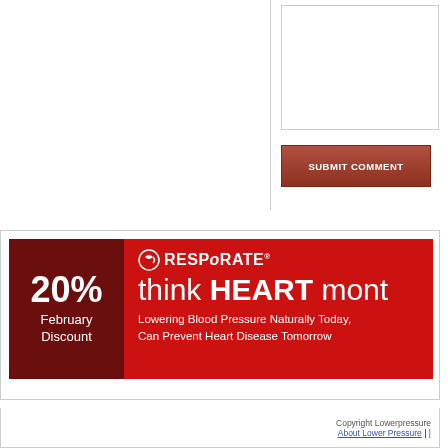[Figure (screenshot): Form submission area with textarea input box and a dark red 'SUBMIT COMMENT' button on the right panel of a webpage.]
[Figure (infographic): RespRate banner advertisement with dark red left panel showing '20% February Discount' and red right panel with RespRate logo, headline 'think HEART month', and subtext 'Lowering Blood Pressure Naturally Today, Can Prevent Heart Disease Tomorrow'.]
Copyright Lowerpressure | About Lower Pressure |